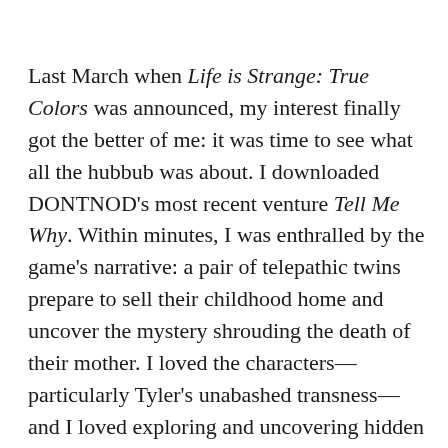Last March when Life is Strange: True Colors was announced, my interest finally got the better of me: it was time to see what all the hubbub was about. I downloaded DONTNOD's most recent venture Tell Me Why. Within minutes, I was enthralled by the game's narrative: a pair of telepathic twins prepare to sell their childhood home and uncover the mystery shrouding the death of their mother. I loved the characters—particularly Tyler's unabashed transness—and I loved exploring and uncovering hidden tidbits about the story and the people of Delos Crossing. However, the game leaned hard on either/or choices, demanding that players choose how the twins remember specific events. My nightmare had come true: there were correct options, each decision determining the strength of the bond between the Ronan twins. It was up to me to keep the